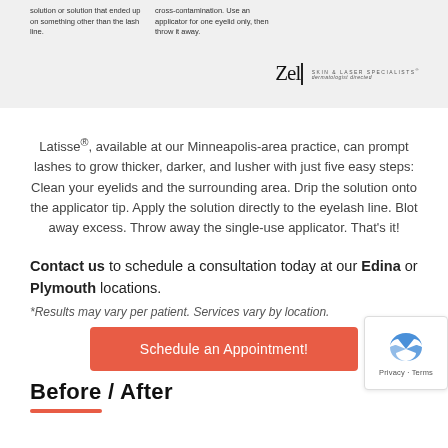[Figure (other): Gray banner with two text columns about Latisse solution instructions and a Zel Skin & Laser Specialists logo in bottom right]
Latisse®, available at our Minneapolis-area practice, can prompt lashes to grow thicker, darker, and lusher with just five easy steps: Clean your eyelids and the surrounding area. Drip the solution onto the applicator tip. Apply the solution directly to the eyelash line. Blot away excess. Throw away the single-use applicator. That's it!
Contact us to schedule a consultation today at our Edina or Plymouth locations.
*Results may vary per patient. Services vary by location.
Schedule an Appointment!
Before / After